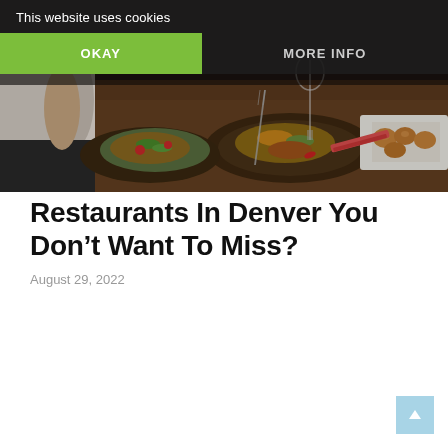[Figure (photo): Restaurant dining table scene with various food dishes, plates of food spread on a wooden table, partially visible person in white top on left]
This website uses cookies
OKAY
MORE INFO
Restaurants In Denver You Don’t Want To Miss?
August 29, 2022